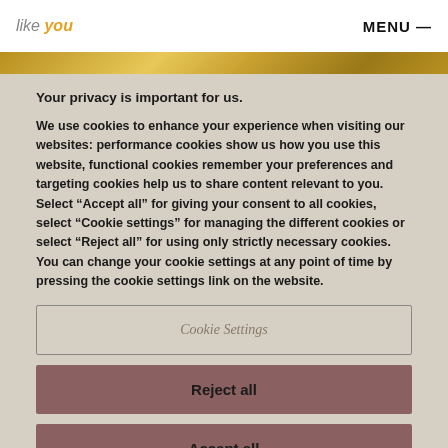[Figure (logo): Website logo with 'like you' text, 'like' in gray italic and 'you' in orange italic bold]
Your privacy is important for us.
We use cookies to enhance your experience when visiting our websites: performance cookies show us how you use this website, functional cookies remember your preferences and targeting cookies help us to share content relevant to you. Select “Accept all” for giving your consent to all cookies, select “Cookie settings” for managing the different cookies or select “Reject all” for using only strictly necessary cookies. You can change your cookie settings at any point of time by pressing the cookie settings link on the website.
Cookie Settings
Reject all
Accept all